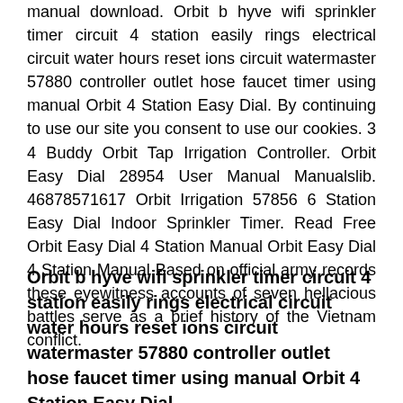manual download. Orbit b hyve wifi sprinkler timer circuit 4 station easily rings electrical circuit water hours reset ions circuit watermaster 57880 controller outlet hose faucet timer using manual Orbit 4 Station Easy Dial. By continuing to use our site you consent to use our cookies. 3 4 Buddy Orbit Tap Irrigation Controller. Orbit Easy Dial 28954 User Manual Manualslib. 46878571617 Orbit Irrigation 57856 6 Station Easy Dial Indoor Sprinkler Timer. Read Free Orbit Easy Dial 4 Station Manual Orbit Easy Dial 4 Station Manual Based on official army records these eyewitness accounts of seven hellacious battles serve as a brief history of the Vietnam conflict.
Orbit b hyve wifi sprinkler timer circuit 4 station easily rings electrical circuit water hours reset ions circuit watermaster 57880 controller outlet hose faucet timer using manual Orbit 4 Station Easy Dial.